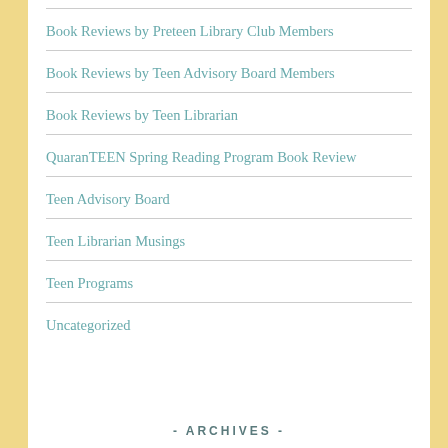Book Reviews by Preteen Library Club Members
Book Reviews by Teen Advisory Board Members
Book Reviews by Teen Librarian
QuaranTEEN Spring Reading Program Book Review
Teen Advisory Board
Teen Librarian Musings
Teen Programs
Uncategorized
- ARCHIVES -